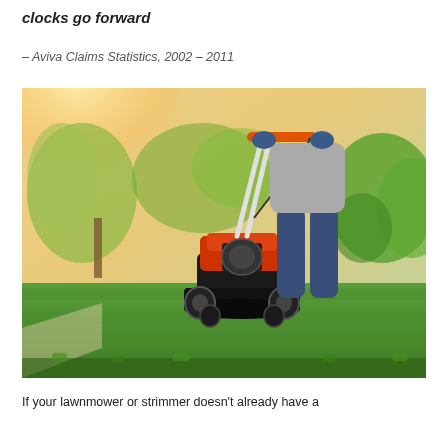clocks go forward
– Aviva Claims Statistics, 2002 – 2011
[Figure (photo): A person pushing an orange and black petrol lawnmower across a green lawn in a garden setting, with sunlight and trees in the background.]
If your lawnmower or strimmer doesn't already have a